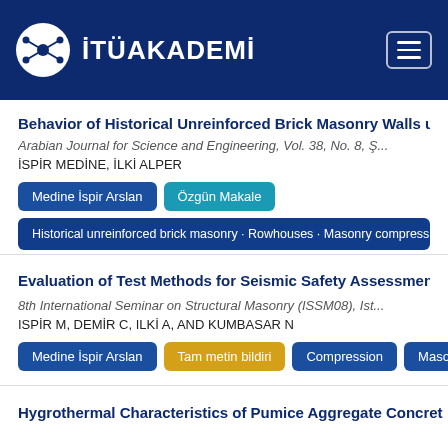İTÜAKADEMİ
Behavior of Historical Unreinforced Brick Masonry Walls und...
Arabian Journal for Science and Engineering, Vol. 38, No. 8, Ş...
İSPİR MEDİNE, İLKİ ALPER
Medine İspir Arslan
Özgün Makale
Historical unreinforced brick masonry · Rowhouses · Masonry compressive s...
Evaluation of Test Methods for Seismic Safety Assessment o...
8th International Seminar on Structural Masonry (ISSM08), Ist...
ISPİR M, DEMİR C, ILKİ A, AND KUMBASAR N
Medine İspir Arslan
Tam metin bildiri
Compression
Masonry
Hygrothermal Characteristics of Pumice Aggregate Concret...